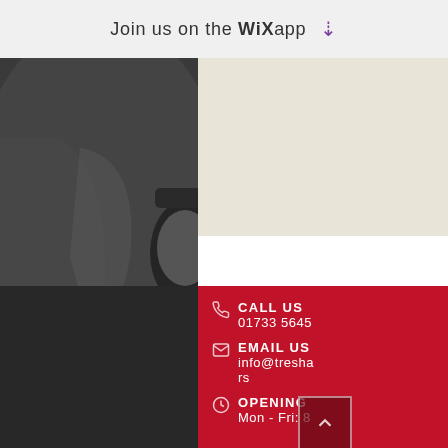Join us on the WiX app ↓
[Figure (photo): Grayscale background photo showing a vintage car with side mirror and a person in leather jacket on the right side]
CALL US
01733 5645
EMAIL US
info@tresha rs
OPENING
Mon - Fri: 8